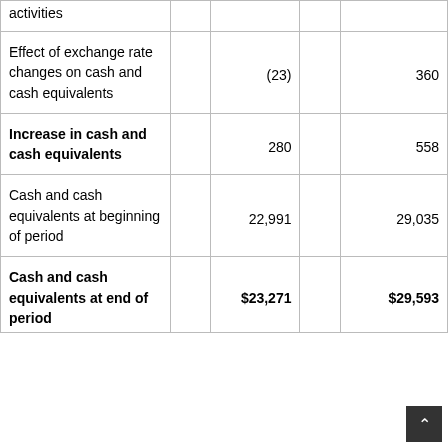|  |  |  |  |  |
| --- | --- | --- | --- | --- |
| activities |  |  |  |  |
| Effect of exchange rate changes on cash and cash equivalents |  | (23) |  | 360 |
| Increase in cash and cash equivalents |  | 280 |  | 558 |
| Cash and cash equivalents at beginning of period |  | 22,991 |  | 29,035 |
| Cash and cash equivalents at end of period |  | $23,271 |  | $29,593 |